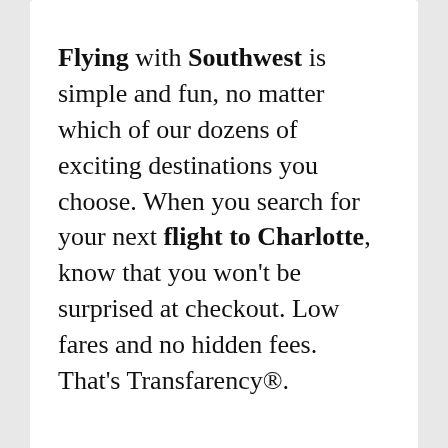Flying with Southwest is simple and fun, no matter which of our dozens of exciting destinations you choose. When you search for your next flight to Charlotte, know that you won't be surprised at checkout. Low fares and no hidden fees. That's Transfarency®.
[Figure (other): Close button (X) in orange/amber color in bottom-right corner of a dialog/popup overlay]